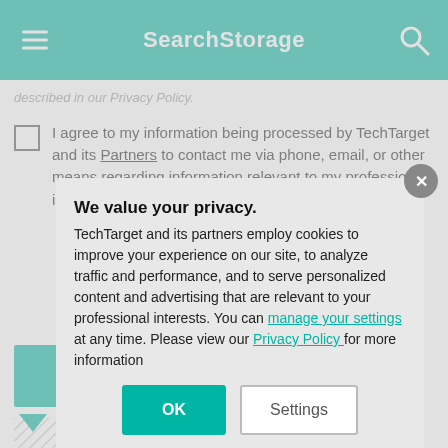SearchStorage
described in our Privacy Policy.
I agree to my information being processed by TechTarget and its Partners to contact me via phone, email, or other means regarding information relevant to my professional interests. I may unsubscribe at any time.
[Figure (screenshot): Teal button area below the checkbox section]
Dig Deep
We value your privacy. TechTarget and its partners employ cookies to improve your experience on our site, to analyze traffic and performance, and to serve personalized content and advertising that are relevant to your professional interests. You can manage your settings at any time. Please view our Privacy Policy for more information
OK
Settings